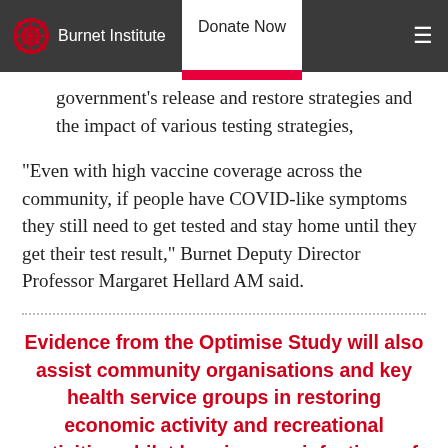Burnet Institute | Donate Now
government's release and restore strategies and the impact of various testing strategies,
“Even with high vaccine coverage across the community, if people have COVID-like symptoms they still need to get tested and stay home until they get their test result,” Burnet Deputy Director Professor Margaret Hellard AM said.
Evidence from the Optimise Study will also assist community organisations and key health service groups in restoring economic activity and recreational activities whilst keeping new infections of COVID-19 at a